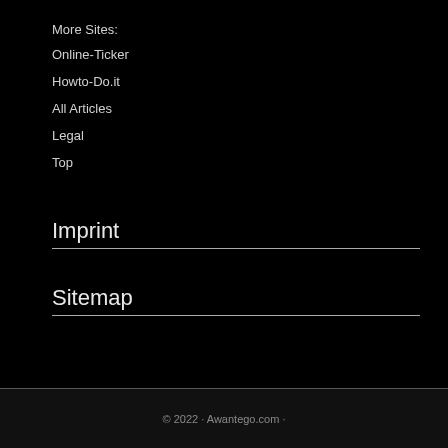More Sites:
Online-Ticker
Howto-Do.it
All Articles
Legal
Top
Imprint
Sitemap
© 2022 · Awantego.com ·